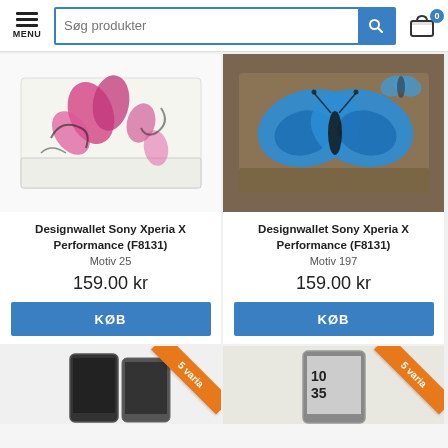[Figure (screenshot): E-commerce website header with hamburger menu, search bar labeled 'Søg produkter', and shopping cart icon with badge showing 0]
[Figure (photo): Designwallet phone case with pink/purple floral motif on white background, shown in folded position]
Designwallet Sony Xperia X Performance (F8131)
Motiv 25
159.00 kr
KØB
[Figure (photo): Designwallet phone case with blue butterfly motif on brown/gold background, shown in folded position]
Designwallet Sony Xperia X Performance (F8131)
Motiv 197
159.00 kr
KØB
[Figure (photo): Bottom partial product card with phone case, orange diagonal ribbon saying '5 varia']
[Figure (photo): Bottom partial product card with phone, orange diagonal ribbon saying '5 varia']